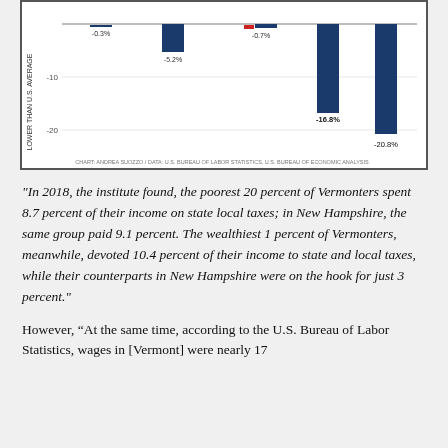[Figure (bar-chart): Lower than U.S. Average]
"In 2018, the institute found, the poorest 20 percent of Vermonters spent 8.7 percent of their income on state local taxes; in New Hampshire, the same group paid 9.1 percent. The wealthiest 1 percent of Vermonters, meanwhile, devoted 10.4 percent of their income to state and local taxes, while their counterparts in New Hampshire were on the hook for just 3 percent."
However, “At the same time, according to the U.S. Bureau of Labor Statistics, wages in [Vermont] were nearly 17